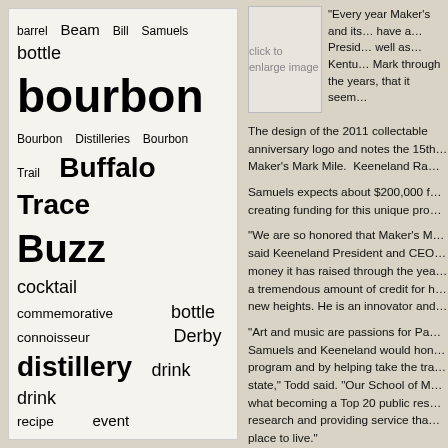[Figure (infographic): Word cloud containing bourbon and whiskey related terms with varying font sizes indicating frequency. Key large terms: bourbon, Buffalo Trace, Buzz, Limited Edition, Maker's Mark, whiskey, whisky, recipe, distillery]
[Figure (photo): Image placeholder with text 'click to enlarge image']
“Every year Maker’s and its... have a... President... well as... Kentu... Mark through the years, that it seem...
The design of the 2011 collectable anniversary logo and notes the 15th... Maker’s Mark Mile. Keeneland Ra...
Samuels expects about $200,000 f... creating funding for this unique pro...
“We are so honored that Maker’s M... said Keeneland President and CEO... money it has raised through the yea... a tremendous amount of credit for h... new heights. He is an innovator and...
“Art and music are passions for Pa... Samuels and Keeneland would hon... program and by helping take the tra... state,” Todd said. “Our School of M... what becoming a Top 20 public res... research and providing service tha... place to live.”
Signing this year’s bottle will be Sa...